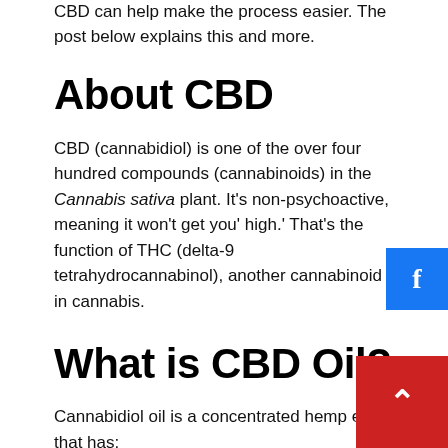CBD can help make the process easier. The post below explains this and more.
About CBD
CBD (cannabidiol) is one of the over four hundred compounds (cannabinoids) in the Cannabis sativa plant. It’s non-psychoactive, meaning it won’t get you’ high.’ That’s the function of THC (delta-9 tetrahydrocannabinol), another cannabinoid in cannabis.
What is CBD Oil?
Cannabidiol oil is a concentrated hemp ext that has: